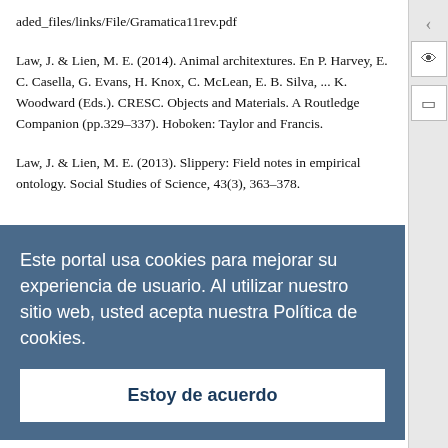aded_files/links/File/Gramatica11rev.pdf
Law, J. & Lien, M. E. (2014). Animal architextures. En P. Harvey, E. C. Casella, G. Evans, H. Knox, C. McLean, E. B. Silva, ... K. Woodward (Eds.). CRESC. Objects and Materials. A Routledge Companion (pp.329–337). Hoboken: Taylor and Francis.
Law, J. & Lien, M. E. (2013). Slippery: Field notes in empirical ontology. Social Studies of Science, 43(3), 363–378.
Este portal usa cookies para mejorar su experiencia de usuario. Al utilizar nuestro sitio web, usted acepta nuestra Política de cookies.
Estoy de acuerdo
theoretical perspectives (pp.35–69). Westport, Conn.: Praeger.